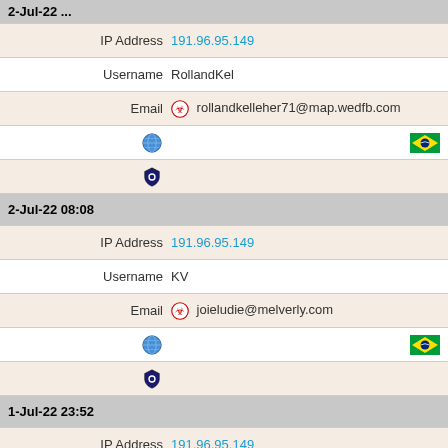| (partial date header cut off) |
| IP Address | 191.96.95.149 |
| Username | RollandKel |
| Email | rollandkelleher71@map.wedfb.com |
| (globe + flag row) |
| (shield row) |
| 2-Jul-22 08:08 |
| IP Address | 191.96.95.149 |
| Username | KV |
| Email | joieludie@melverly.com |
| (globe + flag row) |
| (shield row) |
| 1-Jul-22 23:52 |
| IP Address | 191.96.95.149 |
| Username | MaeMackinl |
| Email | maemackinlay57@free.pieurl.com |
| (globe + flag row) |